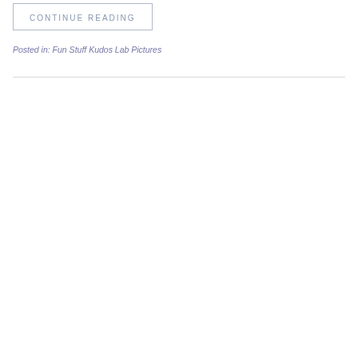CONTINUE READING
Posted in:  Fun Stuff  Kudos  Lab Pictures